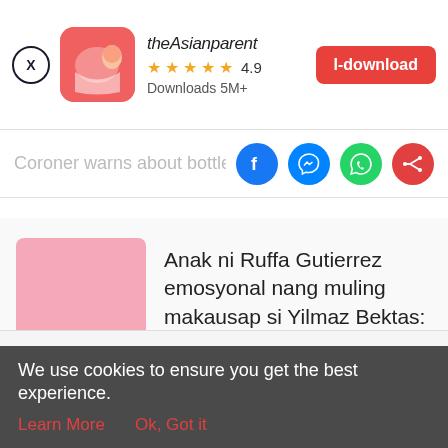[Figure (screenshot): theAsianparent app banner with logo, 4.9 star rating, 5M+ downloads, and I-download button]
Coroner warns about bottle feeding r
[Figure (infographic): Social share icons: Facebook, Messenger, WhatsApp, Share]
[Figure (photo): Pink placeholder thumbnail for article]
Anak ni Ruffa Gutierrez emosyonal nang muling makausap si Yilmaz Bektas: "I hope..."
[Figure (screenshot): Bottom navigation bar with Tools, Articles, Home (active), Feed, Poll icons]
We use cookies to ensure you get the best experience.
Learn More   Ok, Got it